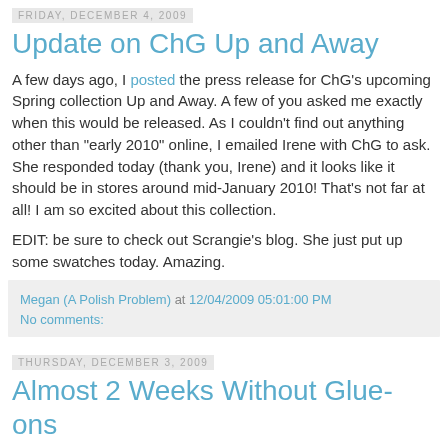Friday, December 4, 2009
Update on ChG Up and Away
A few days ago, I posted the press release for ChG's upcoming Spring collection Up and Away.  A few of you asked me exactly when this would be released.  As I couldn't find out anything other than "early 2010" online, I emailed Irene with ChG to ask.  She responded today (thank you, Irene) and it looks like it should be in stores around mid-January 2010!  That's not far at all!  I am so excited about this collection.
EDIT: be sure to check out Scrangie's blog.  She just put up some swatches today.  Amazing.
Megan (A Polish Problem) at 12/04/2009 05:01:00 PM
No comments:
Thursday, December 3, 2009
Almost 2 Weeks Without Glue-ons